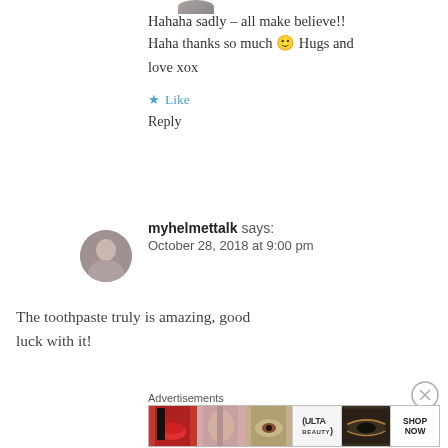[Figure (photo): User avatar (partial, cropped at top)]
Hahaha sadly – all make believe!! Haha thanks so much 🙂 Hugs and love xox
Like
Reply
[Figure (photo): User avatar for myhelmettalk]
myhelmettalk says: October 28, 2018 at 9:00 pm
The toothpaste truly is amazing, good luck with it!
[Figure (other): Close/dismiss button (X in circle)]
Advertisements
[Figure (other): Advertisement banner showing makeup/beauty products with ULTA branding and SHOP NOW call to action]